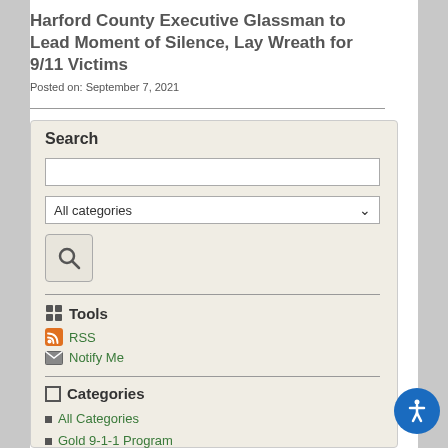Harford County Executive Glassman to Lead Moment of Silence, Lay Wreath for 9/11 Victims
Posted on: September 7, 2021
Search
[Figure (screenshot): Search input field (empty text box)]
[Figure (screenshot): Dropdown select box showing 'All categories']
[Figure (screenshot): Search button with magnifying glass icon]
Tools
RSS
Notify Me
Categories
All Categories
Gold 9-1-1 Program
Harford County Government News
DPW